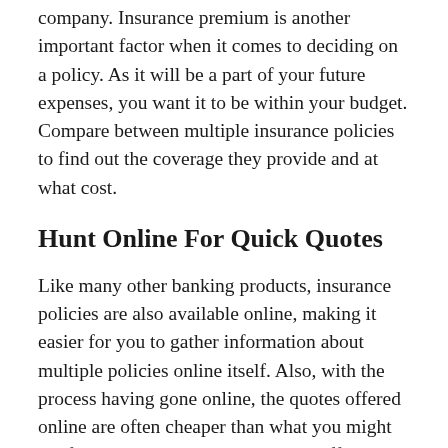company. Insurance premium is another important factor when it comes to deciding on a policy. As it will be a part of your future expenses, you want it to be within your budget. Compare between multiple insurance policies to find out the coverage they provide and at what cost.
Hunt Online For Quick Quotes
Like many other banking products, insurance policies are also available online, making it easier for you to gather information about multiple policies online itself. Also, with the process having gone online, the quotes offered online are often cheaper than what you might get from an agent or at the insurer's office itself. Compare between all your possible choices for